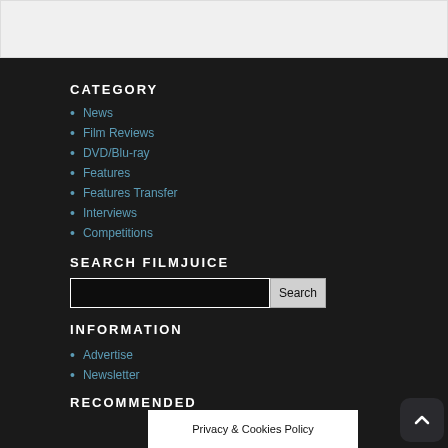CATEGORY
News
Film Reviews
DVD/Blu-ray
Features
Features Transfer
Interviews
Competitions
SEARCH FILMJUICE
INFORMATION
Advertise
Newsletter
RECOMMENDED
Privacy & Cookies Policy